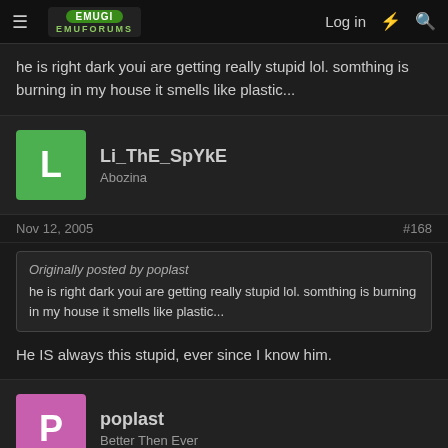[Figure (screenshot): Forum website header bar with hamburger menu, EmuForums logo, Log in text, lightning bolt icon, and search icon]
he is right dark youi are getting really stupid lol. somthing is burning in my house it smells like plastic...
Li_ThE_SpYkE
Abozina
Nov 12, 2005
#168
Originally posted by poplast
he is right dark youi are getting really stupid lol. somthing is burning in my house it smells like plastic...
He IS always this stupid, ever since I know him.
poplast
Better Then Ever
Nov 12, 2005
#169